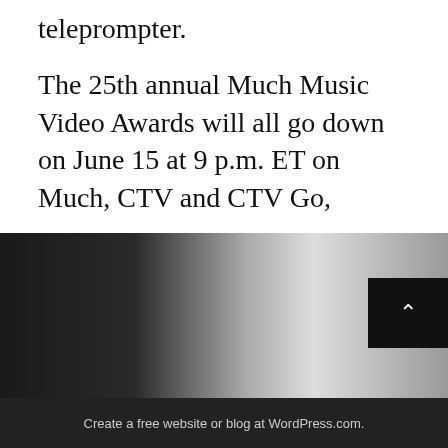teleprompter.
The 25th annual Much Music Video Awards will all go down on June 15 at 9 p.m. ET on Much, CTV and CTV Go,
This entry was posted in Music News and tagged awards, Drake, Hedley, Imagine Dragons, Lorde, Much Music, Much Music Video award, music, music news, SonReal, The Arcade Fire, The Weeknd. Bookmark the permalink.
[Figure (photo): Dark grainy background image fading from black on left to light grey/white tones in the middle, used as website footer background. A black square back-to-top button with a white upward caret appears in the lower right.]
Create a free website or blog at WordPress.com.